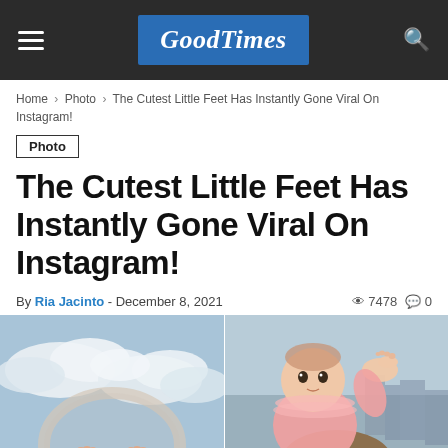GoodTimes
Home > Photo > The Cutest Little Feet Has Instantly Gone Viral On Instagram!
Photo
The Cutest Little Feet Has Instantly Gone Viral On Instagram!
By Ria Jacinto - December 8, 2021   7478   0
[Figure (photo): Two side-by-side photos: left shows baby feet against airplane window with clouds visible; right shows a baby in a pink ruffled outfit holding their foot up.]